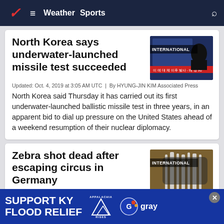Weather  Sports
North Korea says underwater-launched missile test succeeded
Updated: Oct. 4, 2019 at 3:05 AM UTC  |  By HYUNG-JIN KIM Associated Press
North Korea said Thursday it has carried out its first underwater-launched ballistic missile test in three years, in an apparent bid to dial up pressure on the United States ahead of a weekend resumption of their nuclear diplomacy.
Zebra shot dead after escaping circus in Germany
Updated:
A runa...
[Figure (screenshot): News thumbnail with 'INTERNATIONAL' label overlay, showing a person watching a screen with Korean text]
[Figure (photo): Zebra photo with 'INTERNATIONAL' label overlay]
[Figure (infographic): Banner ad: SUPPORT KY FLOOD RELIEF with Appalachia Rises and Gray logo]